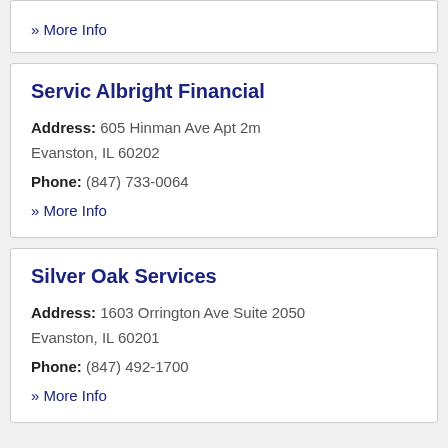» More Info
Servic Albright Financial
Address: 605 Hinman Ave Apt 2m Evanston, IL 60202
Phone: (847) 733-0064
» More Info
Silver Oak Services
Address: 1603 Orrington Ave Suite 2050 Evanston, IL 60201
Phone: (847) 492-1700
» More Info